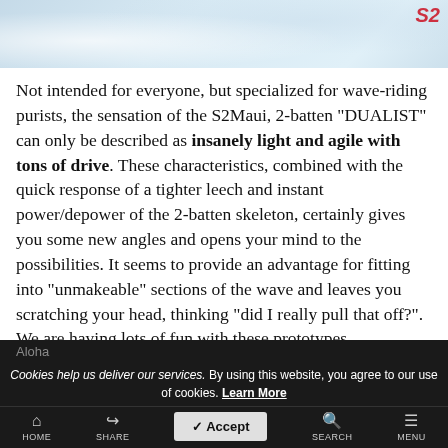[Figure (photo): Aerial or close-up photo of ocean waves with white foam/spray, with a red logo in the top right corner]
Not intended for everyone, but specialized for wave-riding purists, the sensation of the S2Maui, 2-batten “DUALIST” can only be described as insanely light and agile with tons of drive. These characteristics, combined with the quick response of a tighter leech and instant power/depower of the 2-batten skeleton, certainly gives you some new angles and opens your mind to the possibilities. It seems to provide an advantage for fitting into “unmakeable” sections of the wave and leaves you scratching your head, thinking “did I really pull that off?”. We are having lots of fun with these prototypes.
Aloha
Cookies help us deliver our services. By using this website, you agree to our use of cookies. Learn More
Accept
HOME SHARE SEARCH MENU